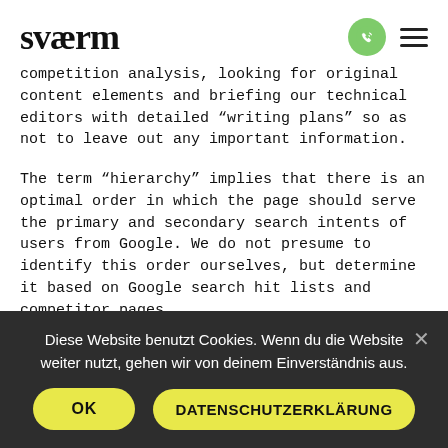sværm
competition analysis, looking for original content elements and briefing our technical editors with detailed “writing plans” so as not to leave out any important information.
The term “hierarchy” implies that there is an optimal order in which the page should serve the primary and secondary search intents of users from Google. We do not presume to identify this order ourselves, but determine it based on Google search hit lists and competitor pages.
How search intent hierarchy analysis
Diese Website benutzt Cookies. Wenn du die Website weiter nutzt, gehen wir von deinem Einverständnis aus.